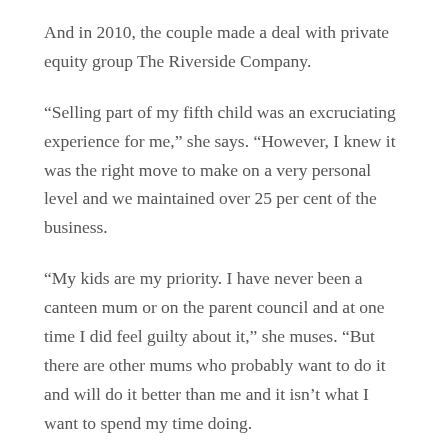And in 2010, the couple made a deal with private equity group The Riverside Company.
“Selling part of my fifth child was an excruciating experience for me,” she says. “However, I knew it was the right move to make on a very personal level and we maintained over 25 per cent of the business.
“My kids are my priority. I have never been a canteen mum or on the parent council and at one time I did feel guilty about it,” she muses. “But there are other mums who probably want to do it and will do it better than me and it isn’t what I want to spend my time doing.
“I think people need to see their life in totality and do